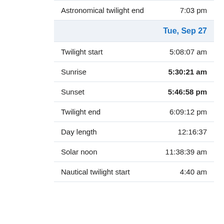| Event | Time |
| --- | --- |
| Astronomical twilight end | 7:03 pm |
| Tue, Sep 27 |  |
| Twilight start | 5:08:07 am |
| Sunrise | 5:30:21 am |
| Sunset | 5:46:58 pm |
| Twilight end | 6:09:12 pm |
| Day length | 12:16:37 |
| Solar noon | 11:38:39 am |
| Nautical twilight start | 4:40 am |